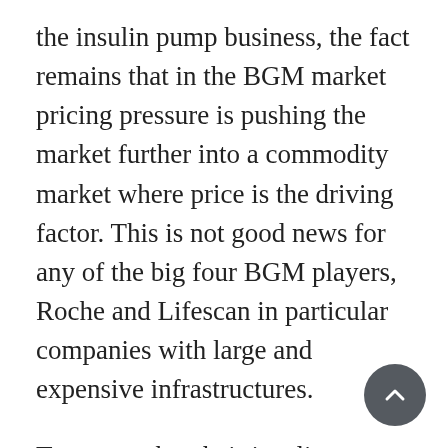the insulin pump business, the fact remains that in the BGM market pricing pressure is pushing the market further into a commodity market where price is the driving factor. This is not good news for any of the big four BGM players, Roche and Lifescan in particular companies with large and expensive infrastructures.
To expect that their insulin pump units will pick up the slack is almost a laughable concept. The insulin pump market is not large enough, nor is it growing fast